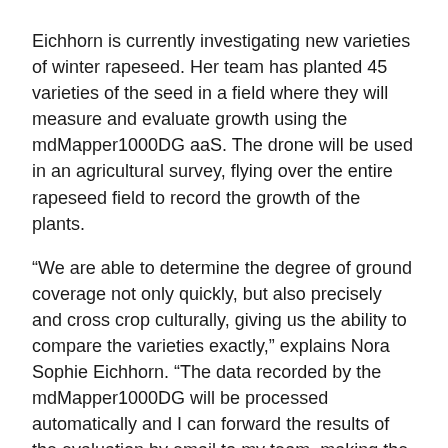Eichhorn is currently investigating new varieties of winter rapeseed. Her team has planted 45 varieties of the seed in a field where they will measure and evaluate growth using the mdMapper1000DG aaS. The drone will be used in an agricultural survey, flying over the entire rapeseed field to record the growth of the plants.
“We are able to determine the degree of ground coverage not only quickly, but also precisely and cross crop culturally, giving us the ability to compare the varieties exactly,” explains Nora Sophie Eichhorn. “The data recorded by the mdMapper1000DG will be processed automatically and I can forward the results of the evaluation by email to my team, making the process very fast and simple.”
More productivity through optimized breeding
Not only is just the growth behavior of the different plants being analyzed by the aerial photos, but the condition of the plants is being determined as well, making it possible to determine if the nutrients and leaf deficiencies are there. The drone can create...